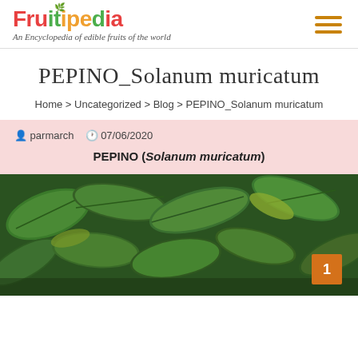Fruitipedia — An Encyclopedia of edible fruits of the world
PEPINO_Solanum muricatum
Home > Uncategorized > Blog > PEPINO_Solanum muricatum
parmarch   07/06/2020
PEPINO (Solanum muricatum)
[Figure (photo): Close-up photo of green leaves of the Pepino (Solanum muricatum) plant, with a numbered orange badge showing '1' in the bottom right corner]